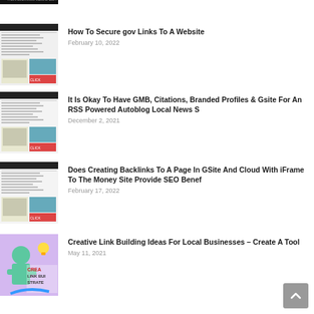[Figure (screenshot): Partially visible thumbnail of an article, cut off at top]
[Figure (screenshot): Thumbnail showing a website/document page screenshot]
How To Secure gov Links To A Website
February 10, 2022
[Figure (screenshot): Thumbnail showing a website/document page screenshot]
It Is Okay To Have GMB, Citations, Branded Profiles & Gsite For An RSS Powered Autoblog Local News S
December 2, 2021
[Figure (screenshot): Thumbnail showing a website/document page screenshot]
Does Creating Backlinks To A Page In GSite And Cloud With iFrame To The Money Site Provide SEO Benef
February 17, 2022
[Figure (photo): Thumbnail showing a man with creative link building strategies graphic]
Creative Link Building Ideas For Local Businesses – Create A Tool
May 11, 2021